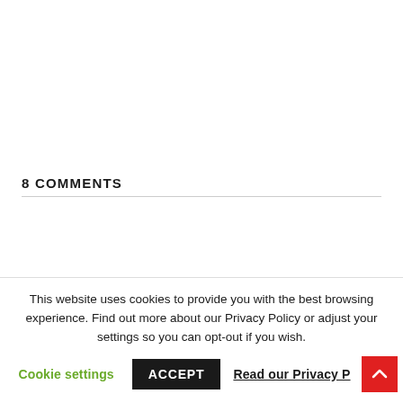8 COMMENTS
This website uses cookies to provide you with the best browsing experience. Find out more about our Privacy Policy or adjust your settings so you can opt-out if you wish.
Cookie settings  ACCEPT  Read our Privacy P...